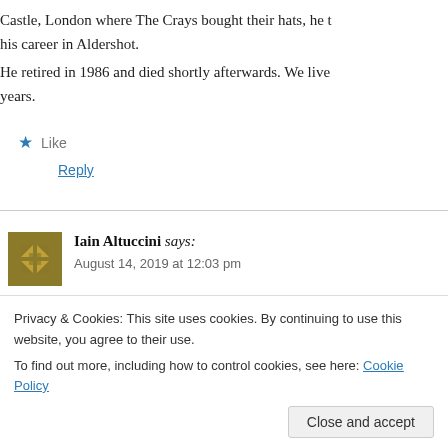Castle, London where The Crays bought their hats, he [ended] his career in Aldershot.
He retired in 1986 and died shortly afterwards. We live[d there for many] years.
★ Like
Reply
Iain Altuccini says:
August 14, 2019 at 12:03 pm
I still lament the passing of Dunn's. Their presence on [the...]
Privacy & Cookies: This site uses cookies. By continuing to use this website, you agree to their use.
To find out more, including how to control cookies, see here: Cookie Policy
Close and accept